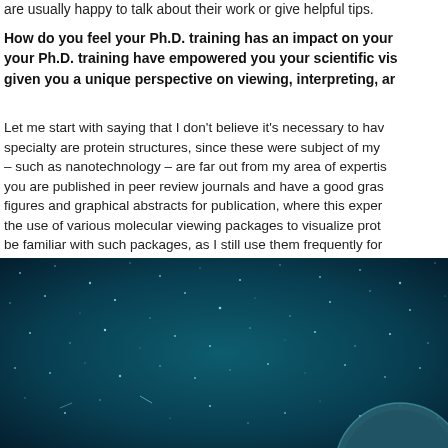are usually happy to talk about their work or give helpful tips.
How do you feel your Ph.D. training has an impact on your your Ph.D. training have empowered you your scientific vis given you a unique perspective on viewing, interpreting, ar
Let me start with saying that I don't believe it's necessary to hav specialty are protein structures, since these were subject of my – such as nanotechnology – are far out from my area of expertis you are published in peer review journals and have a good gras figures and graphical abstracts for publication, where this exper the use of various molecular viewing packages to visualize prot be familiar with such packages, as I still use them frequently for
[Figure (photo): Dark teal/turquoise starfield or night sky background with scattered light particles/stars, with a partial circular object visible at the bottom right corner — appears to be a scientific or space-related photograph.]